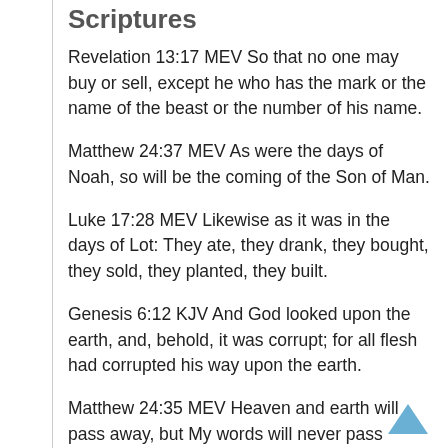Scriptures
Revelation 13:17 MEV So that no one may buy or sell, except he who has the mark or the name of the beast or the number of his name.
Matthew 24:37 MEV As were the days of Noah, so will be the coming of the Son of Man.
Luke 17:28 MEV Likewise as it was in the days of Lot: They ate, they drank, they bought, they sold, they planted, they built.
Genesis 6:12 KJV And God looked upon the earth, and, behold, it was corrupt; for all flesh had corrupted his way upon the earth.
Matthew 24:35 MEV Heaven and earth will pass away, but My words will never pass away.